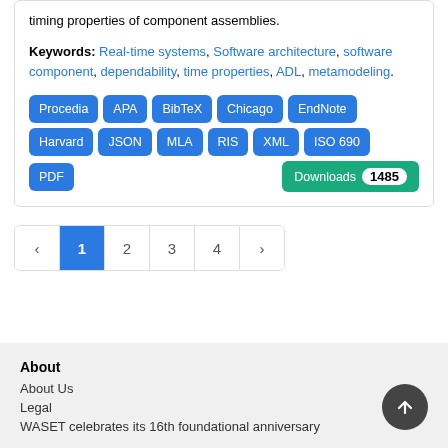timing properties of component assemblies.
Keywords: Real-time systems, Software architecture, software component, dependability, time properties, ADL, metamodeling.
[Figure (screenshot): Row of citation format buttons: Procedia, APA, BibTeX, Chicago, EndNote, Harvard, JSON, MLA, RIS, XML, ISO 690, PDF, and a Downloads button showing count 1485]
[Figure (screenshot): Pagination control showing pages: previous arrow, 1 (active/highlighted), 2, 3, 4, next arrow]
About
About Us
Legal
WASET celebrates its 16th foundational anniversary